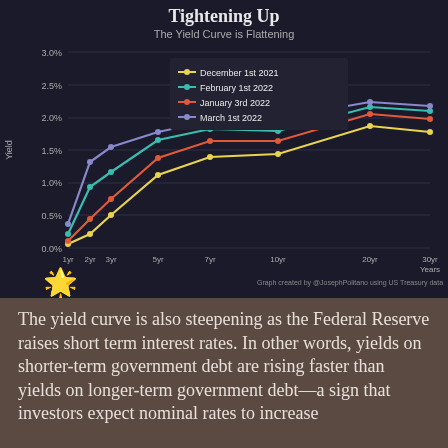[Figure (line-chart): Tightening Up]
The yield curve is also steepening as the Federal Reserve raises short term interest rates. In other words, yields on shorter-term government debt are rising faster than yields on longer-term government debt—a sign that investors expect nominal rates to increase rapidly in the short-term and then...